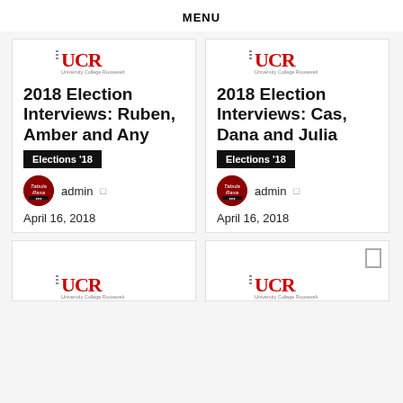MENU
[Figure (logo): UCR University College Roosevelt logo - left card top]
2018 Election Interviews: Ruben, Amber and Any
Elections '18
admin   April 16, 2018
[Figure (logo): UCR University College Roosevelt logo - right card top]
2018 Election Interviews: Cas, Dana and Julia
Elections '18
admin   April 16, 2018
[Figure (logo): UCR University College Roosevelt logo - bottom left card]
[Figure (logo): UCR University College Roosevelt logo - bottom right card, partial]